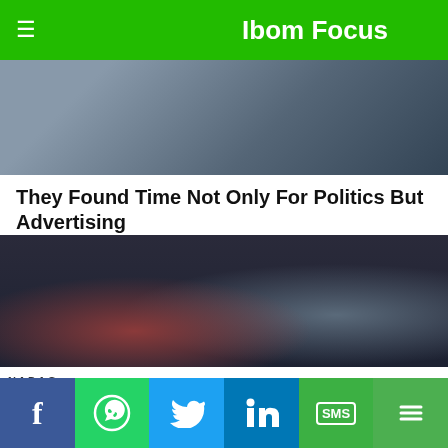Ibom Focus
[Figure (photo): Close-up photo of a person's face and hands, partially cropped]
They Found Time Not Only For Politics But Advertising
BRAINBERRIES
[Figure (photo): Two men standing in front of a car at a dealership, one handing keys to the other. A NADAC sign is visible in the background.]
Even An Old Man Needs A New Car Sometimes
BRAINBERRIES